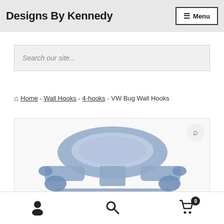Designs By Kennedy  Menu
Search our site...
Home › Wall Hooks › 4-hooks › VW Bug Wall Hooks
[Figure (photo): Partial view of a VW Bug wall hooks product image showing the front of a blue/purple VW Beetle car silhouette with a zoom button in the top right corner]
User icon | Search icon | Cart icon with badge 0